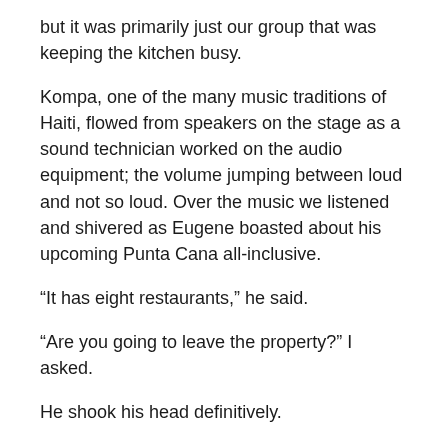but it was primarily just our group that was keeping the kitchen busy.
Kompa, one of the many music traditions of Haiti, flowed from speakers on the stage as a sound technician worked on the audio equipment; the volume jumping between loud and not so loud. Over the music we listened and shivered as Eugene boasted about his upcoming Punta Cana all-inclusive.
“It has eight restaurants,” he said.
“Are you going to leave the property?” I asked.
He shook his head definitively.
“Yeah, and I’ll be in Puerto Rico,” Gerry announced out of the blue.